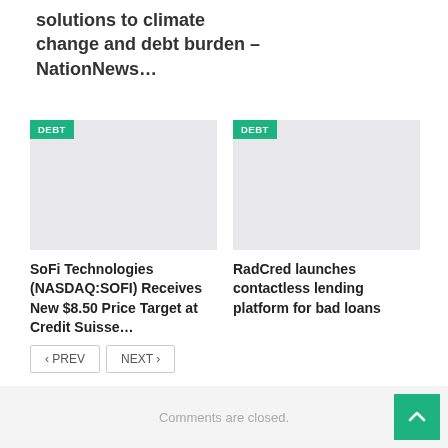solutions to climate change and debt burden – NationNews…
[Figure (photo): Placeholder image card with DEBT badge, gray background]
SoFi Technologies (NASDAQ:SOFI) Receives New $8.50 Price Target at Credit Suisse…
[Figure (photo): Placeholder image card with DEBT badge, gray background]
RadCred launches contactless lending platform for bad loans
‹ PREV   NEXT ›
Comments are closed.